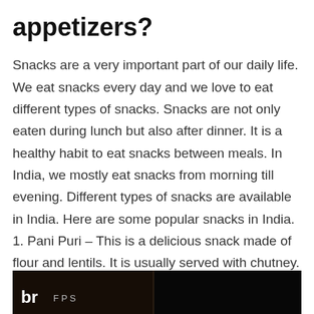appetizers?
Snacks are a very important part of our daily life. We eat snacks every day and we love to eat different types of snacks. Snacks are not only eaten during lunch but also after dinner. It is a healthy habit to eat snacks between meals. In India, we mostly eat snacks from morning till evening. Different types of snacks are available in India. Here are some popular snacks in India. 1. Pani Puri – This is a delicious snack made of flour and lentils. It is usually served with chutney. 2. Chaat – This is a spicy snack made of vegetables and other ingredients.
[Figure (photo): Dark image strip at the bottom showing what appears to be a video thumbnail with a logo 'br' on the left side]